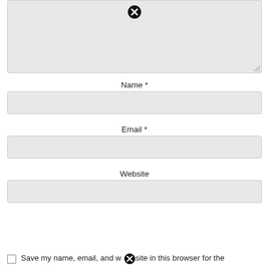[Figure (screenshot): Textarea input field with a close/cancel icon (circled X) at the top center and a resize handle at the bottom right corner. Background is light gray.]
Name *
[Figure (screenshot): Name text input field, light gray background, rounded corners.]
Email *
[Figure (screenshot): Email text input field, light gray background, rounded corners.]
Website
[Figure (screenshot): Website text input field, light gray background, rounded corners.]
Save my name, email, and website in this browser for the